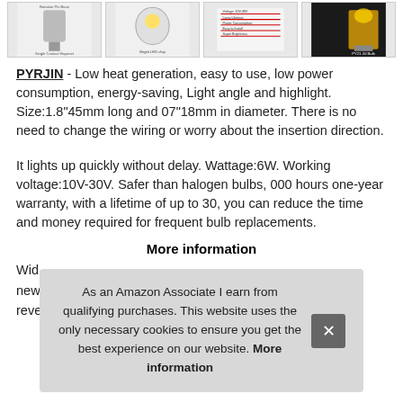[Figure (photo): Four thumbnail images of LED bulbs and product details in a horizontal strip at the top of the page.]
PYRJIN - Low heat generation, easy to use, low power consumption, energy-saving, Light angle and highlight. Size:1.8"45mm long and 07"18mm in diameter. There is no need to change the wiring or worry about the insertion direction.
It lights up quickly without delay. Wattage:6W. Working voltage:10V-30V. Safer than halogen bulbs, 000 hours one-year warranty, with a lifetime of up to 30, you can reduce the time and money required for frequent bulb replacements.
More information
Wid
new
reve
As an Amazon Associate I earn from qualifying purchases. This website uses the only necessary cookies to ensure you get the best experience on our website. More information